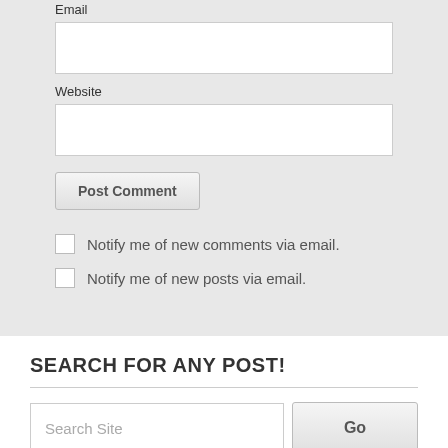Email
Website
Post Comment
Notify me of new comments via email.
Notify me of new posts via email.
SEARCH FOR ANY POST!
Search Site
Go
MEET ME